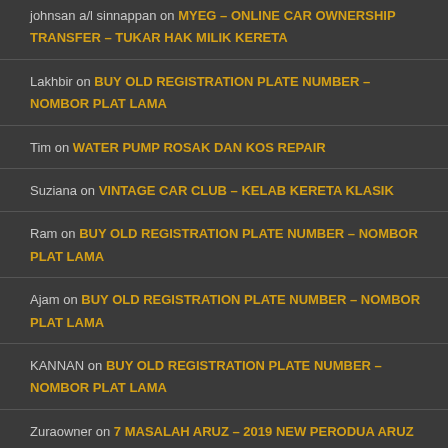johnsan a/l sinnappan on MYEG – ONLINE CAR OWNERSHIP TRANSFER – TUKAR HAK MILIK KERETA
Lakhbir on BUY OLD REGISTRATION PLATE NUMBER – NOMBOR PLAT LAMA
Tim on WATER PUMP ROSAK DAN KOS REPAIR
Suziana on VINTAGE CAR CLUB – KELAB KERETA KLASIK
Ram on BUY OLD REGISTRATION PLATE NUMBER – NOMBOR PLAT LAMA
Ajam on BUY OLD REGISTRATION PLATE NUMBER – NOMBOR PLAT LAMA
KANNAN on BUY OLD REGISTRATION PLATE NUMBER – NOMBOR PLAT LAMA
Zuraowner on 7 MASALAH ARUZ – 2019 NEW PERODUA ARUZ REVIEW